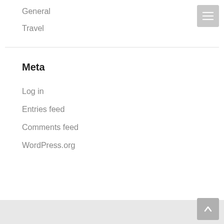General
Travel
Meta
Log in
Entries feed
Comments feed
WordPress.org